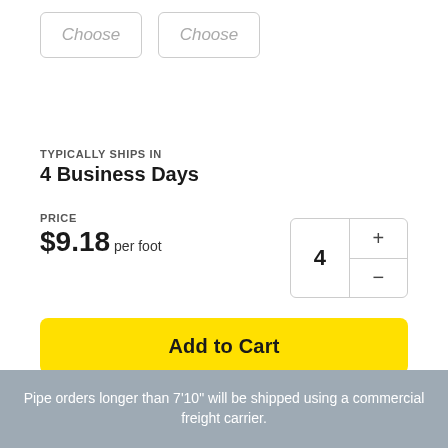[Figure (screenshot): Two 'Choose' dropdown selector boxes side by side]
TYPICALLY SHIPS IN
4 Business Days
PRICE
$9.18 per foot
[Figure (other): Quantity selector showing 4 with + and - controls]
Add to Cart
Model: G200GS12GA
Pipe orders longer than 7'10" will be shipped using a commercial freight carrier.